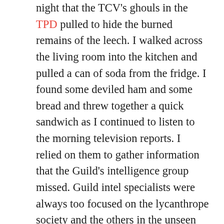night that the TCV's ghouls in the TPD pulled to hide the burned remains of the leech. I walked across the living room into the kitchen and pulled a can of soda from the fridge. I found some deviled ham and some bread and threw together a quick sandwich as I continued to listen to the morning television reports. I relied on them to gather information that the Guild's intelligence group missed. Guild intel specialists were always too focused on the lycanthrope society and the others in the unseen world, and occasionally missed important information in the human world. Once they missed the fact that the human president was coming into town and a job had to be scrapped at the last minute. Unfortunately, the intel group just chalked it up to an anomaly, so they didn't bother changing their methods. So, I was left to comb through a bunch of useless information to find the few nuggets of joy. The